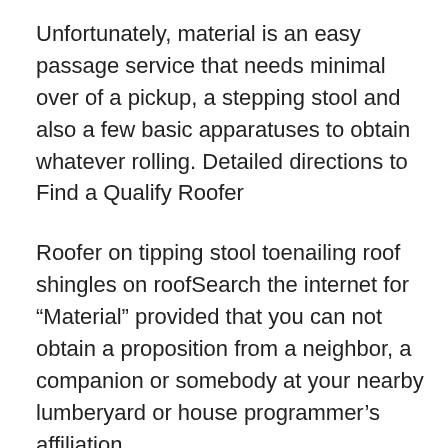Unfortunately, material is an easy passage service that needs minimal over of a pickup, a stepping stool and also a few basic apparatuses to obtain whatever rolling. Detailed directions to Find a Qualify Roofer
Roofer on tipping stool toenailing roof shingles on roofSearch the internet for “Material” provided that you can not obtain a proposition from a neighbor, a companion or somebody at your nearby lumberyard or house programmer’s affiliation.
Set up no much less than two possibilities, and also make certain each has been operating something like five years – roofing professionals who achieve awful job typically